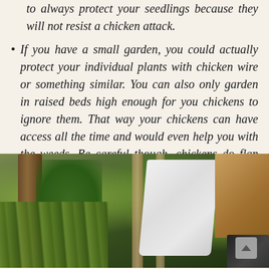to always protect your seedlings because they will not resist a chicken attack.
If you have a small garden, you could actually protect your individual plants with chicken wire or something similar. You can also only garden in raised beds high enough for you chickens to ignore them. That way your chickens can have access all the time and would even help you with the weeds. Be careful though, chickens do flap their wings and “fly”.
[Figure (photo): Outdoor garden scene showing a wooden fence or tree trunk on the left, ivy and green plants in the middle, a white bag or sheet and brown cardboard box on the right side.]